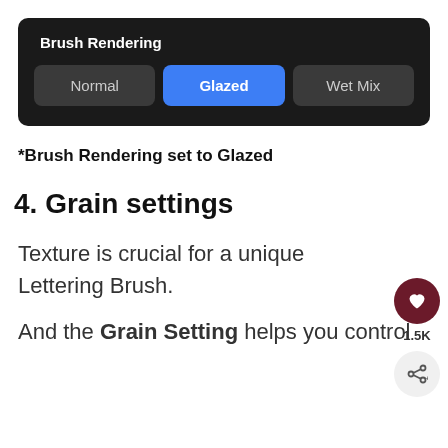[Figure (screenshot): Brush Rendering UI panel with three buttons: Normal, Glazed (active/blue), Wet Mix]
*Brush Rendering set to Glazed
4. Grain settings
Texture is crucial for a unique Lettering Brush.
And the Grain Setting helps you control